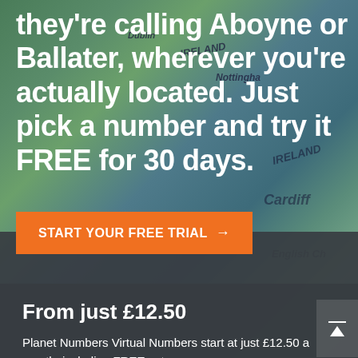[Figure (map): Background map of UK and Ireland with teal/green coloring, showing place names like Dublin, Cardiff, Nottingham, English Channel]
they're calling Aboyne or Ballater, wherever you're actually located. Just pick a number and try it FREE for 30 days.
START YOUR FREE TRIAL →
From just £12.50
Planet Numbers Virtual Numbers start at just £12.50 a month, including FREE setup.
Find your perfect Virtual Number